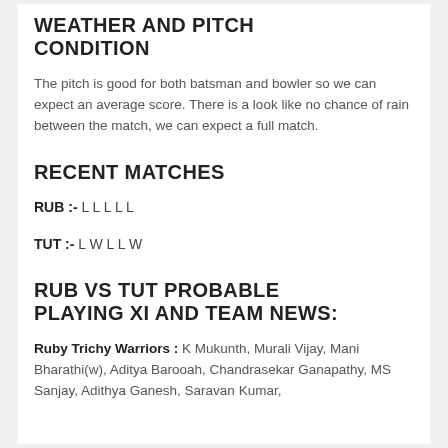WEATHER AND PITCH CONDITION
The pitch is good for both batsman and bowler so we can expect an average score. There is a look like no chance of rain between the match, we can expect a full match.
RECENT MATCHES
RUB :- L L L L L
TUT :- L W L L W
RUB VS TUT PROBABLE PLAYING XI AND TEAM NEWS:
Ruby Trichy Warriors : K Mukunth, Murali Vijay, Mani Bharathi(w), Aditya Barooah, Chandrasekar Ganapathy, MS Sanjay, Adithya Ganesh, Saravan Kumar,